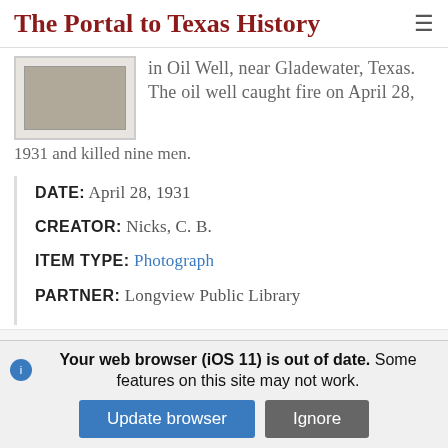The Portal to Texas History
[Figure (photo): Thumbnail photograph of an oil well, partially visible]
in Oil Well, near Gladewater, Texas. The oil well caught fire on April 28, 1931 and killed nine men.
DATE: April 28, 1931
CREATOR: Nicks, C. B.
ITEM TYPE: Photograph
PARTNER: Longview Public Library
[Figure (photo): Thumbnail image of Brown County document]
Brown County, state of Texas :
Your web browser (iOS 11) is out of date. Some features on this site may not work.
Update browser   Ignore